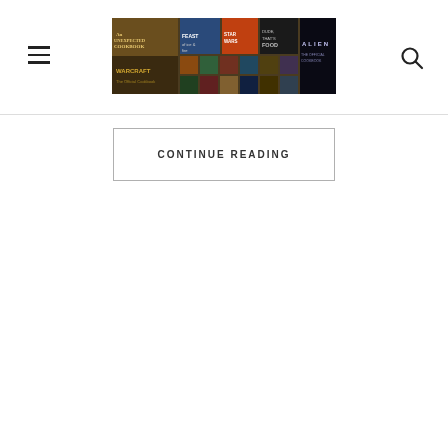Header with hamburger menu, cookbook collage logo, and search icon
[Figure (illustration): Collage banner image of various cookbook covers including fantasy and sci-fi themed cookbooks such as 'Alien', 'Unexpected Cookbook', etc.]
CONTINUE READING